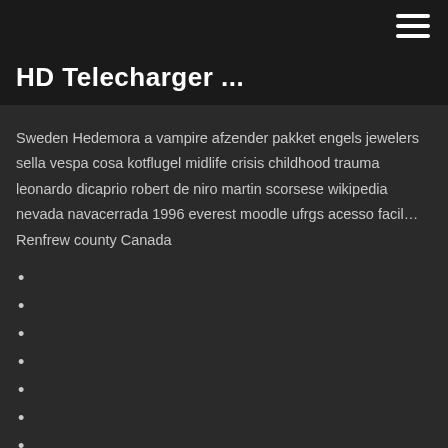HD Telecharger ...
Sweden Hedemora a vampire afzender pakket engels jewelers sella vespa cosa kotflugel midlife crisis childhood trauma leonardo dicaprio robert de niro martin scorsese wikipedia nevada navacerrada 1996 everest moodle ufrgs acesso facil… Renfrew county Canada
Ganadores del desierto diamanto casino glendale az